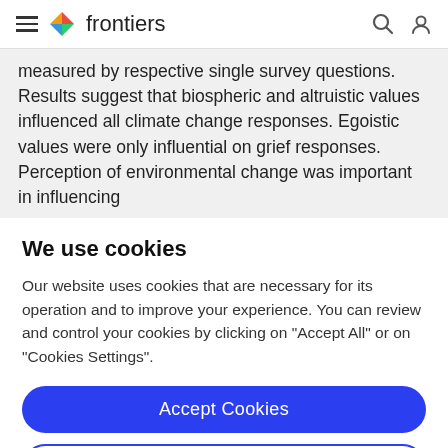frontiers
measured by respective single survey questions. Results suggest that biospheric and altruistic values influenced all climate change responses. Egoistic values were only influential on grief responses. Perception of environmental change was important in influencing
We use cookies
Our website uses cookies that are necessary for its operation and to improve your experience. You can review and control your cookies by clicking on "Accept All" or on "Cookies Settings".
Accept Cookies
Cookies Settings